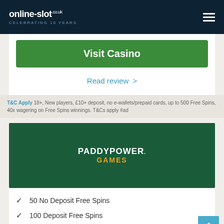online-slot.co.uk CELEBRATING 10 YEARS
Visit Casino
Read review >
T&C Apply 18+, New players, £10+ deposit, no e-wallets/prepaid cards, up to 500 Free Spins, 40x wagering on Free Spins winnings. T&Cs apply #ad
[Figure (logo): Paddy Power Games logo on dark green background]
50 No Deposit Free Spins
100 Deposit Free Spins
700+ Slots